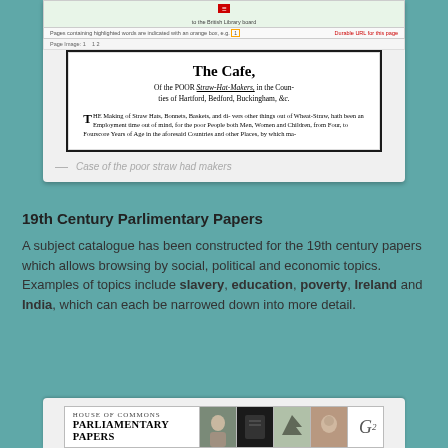[Figure (screenshot): Screenshot of a British Library digital viewer showing an old document titled 'The Case, Of the Poor Straw-Hat-Makers, in the Counties of Hartford, Bedford, Buckingham, &c.' with body text about straw hat making employment.]
— Case of the poor straw had makers
19th Century Parlimentary Papers
A subject catalogue has been constructed for the 19th century papers which allows browsing by social, political and economic topics. Examples of topics include slavery, education, poverty, Ireland and India, which can each be narrowed down into more detail.
[Figure (screenshot): Banner image for House of Commons Parliamentary Papers showing the title text and several photographic thumbnail images alongside a logo.]